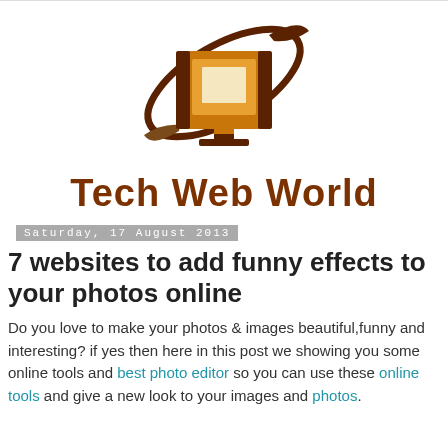[Figure (logo): Tech Web World logo: orange/brown monitor with swoosh orbit, above bold brown text 'Tech Web World']
Saturday, 17 August 2013
7 websites to add funny effects to your photos online
Do you love to make your photos & images beautiful,funny and interesting? if yes then here in this post we showing you some online tools and best photo editor so you can use these online tools and give a new look to your images and photos.